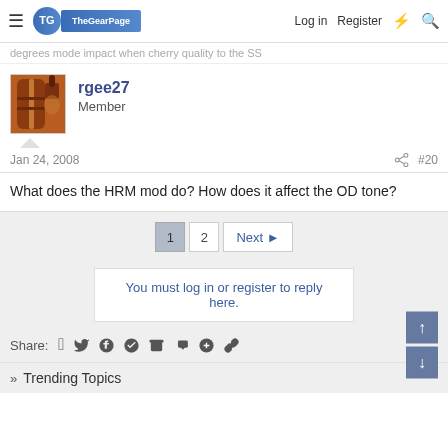The Gear Page | Log in | Register
degrees mode impact when cherry quality to the SS
rgee27
Member
Jan 24, 2008	#20
What does the HRM mod do? How does it affect the OD tone?
1  2  Next ▶
You must log in or register to reply here.
Share:
» Trending Topics